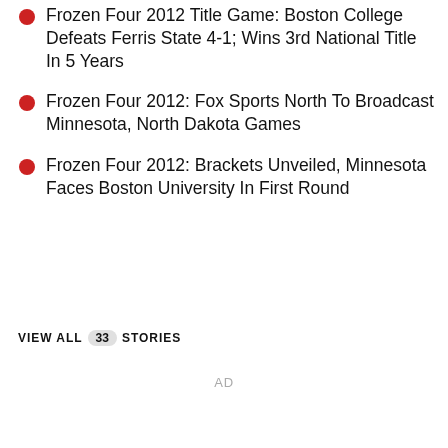Frozen Four 2012 Title Game: Boston College Defeats Ferris State 4-1; Wins 3rd National Title In 5 Years
Frozen Four 2012: Fox Sports North To Broadcast Minnesota, North Dakota Games
Frozen Four 2012: Brackets Unveiled, Minnesota Faces Boston University In First Round
VIEW ALL 33 STORIES
AD